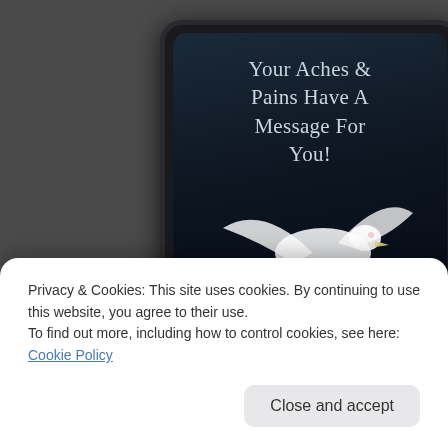[Figure (illustration): A tablet/e-reader device displaying a book cover. The book cover shows the title 'Your Aches & Pains Have A Message For You!' in light text on a dark blue-black background, with an illustration of a white dove carrying an envelope, and the author name 'Autumn Clark' at the bottom.]
Privacy & Cookies: This site uses cookies. By continuing to use this website, you agree to their use.
To find out more, including how to control cookies, see here: Cookie Policy
Close and accept